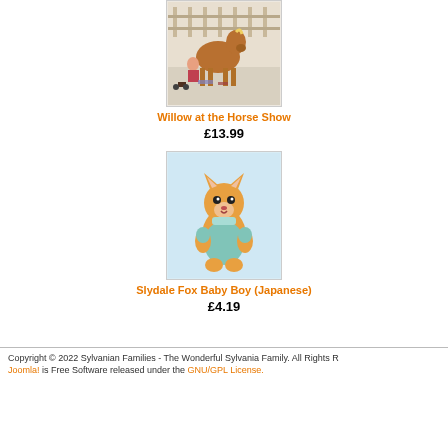[Figure (photo): Product image of Willow at the Horse Show - toy figurine set with horse and accessories]
Willow at the Horse Show
£13.99
[Figure (photo): Product image of Slydale Fox Baby Boy (Japanese) - small fox figurine in teal outfit]
Slydale Fox Baby Boy (Japanese)
£4.19
Copyright © 2022 Sylvanian Families - The Wonderful Sylvania Family. All Rights R... Joomla! is Free Software released under the GNU/GPL License.